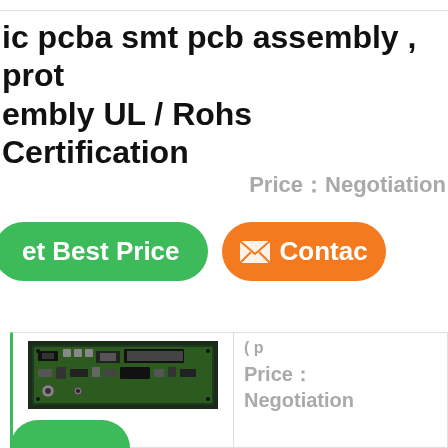ic pcba smt pcb assembly , prot embly UL / Rohs Certification
Price：Negotiation
et Best Price
Contac
[Figure (photo): Green PCB circuit board assembly product image]
Price：
Negotiation